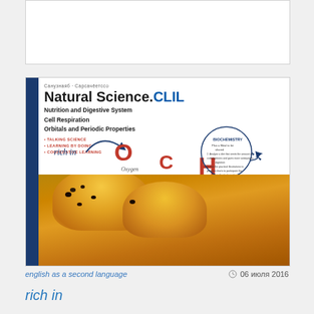[Figure (illustration): Book cover of Natural Science.CLIL textbook showing title, subtitle topics (Nutrition and Digestive System, Cell Respiration, Orbitals and Periodic Properties), bullet points (Talking Science, Learning by Doing, Cooperative Learning), a chemistry diagram with O, C, H elements labeled Oxygen, Carbon, Hydrogen with 'rich in' annotation and a circular BIOCHEMISTRY callout, and blueberry muffins photograph at the bottom]
english as a second language
06 июля 2016
rich in